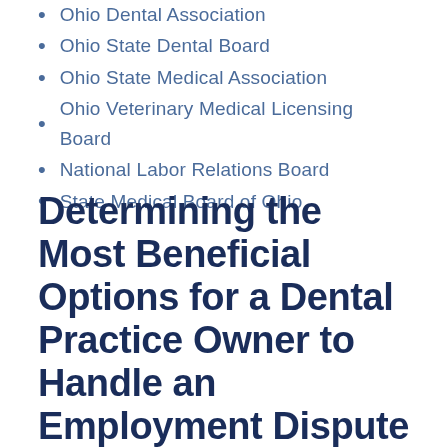Ohio Dental Association
Ohio State Dental Board
Ohio State Medical Association
Ohio Veterinary Medical Licensing Board
National Labor Relations Board
State Medical Board of Ohio
Determining the Most Beneficial Options for a Dental Practice Owner to Handle an Employment Dispute